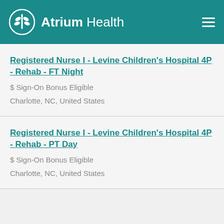Atrium Health
Registered Nurse I - Levine Children's Hospital 4P - Rehab - FT Night
$ Sign-On Bonus Eligible
Charlotte, NC, United States
Registered Nurse I - Levine Children's Hospital 4P - Rehab - PT Day
$ Sign-On Bonus Eligible
Charlotte, NC, United States